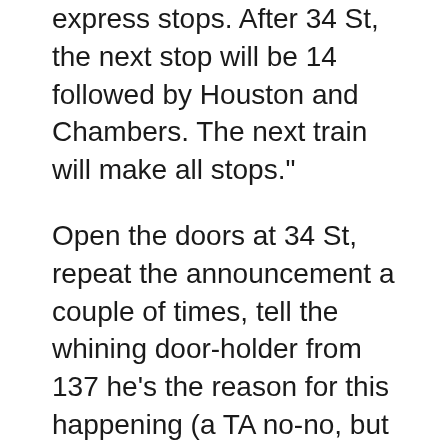express stops. After 34 St, the next stop will be 14 followed by Houston and Chambers. The next train will make all stops."
Open the doors at 34 St, repeat the announcement a couple of times, tell the whining door-holder from 137 he's the reason for this happening (a TA no-no, but it works - now everyone's pissed at him, not me), shut the doors and get out of there. Repeat same basic message at 14 St and Houston.
Chambers St.: The last big influx. The folk in the back go to the WTC and those in the front go to the Ferry. Start making the move to the first five cars for South Ferry announcement. And again after Cortlandt and Rector.